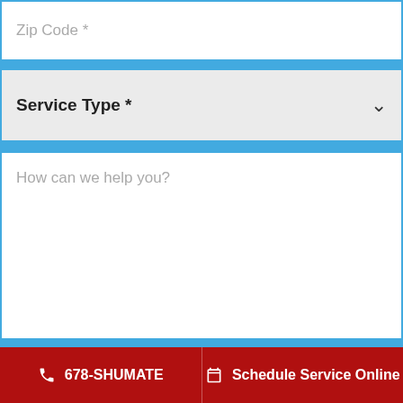Zip Code *
Service Type *
How can we help you?
[Figure (illustration): HVAC/plumbing equipment illustration shown as light blue line art on blue background, depicting boilers, pipes, heat exchangers and other mechanical equipment]
Send Message
678-SHUMATE | Schedule Service Online